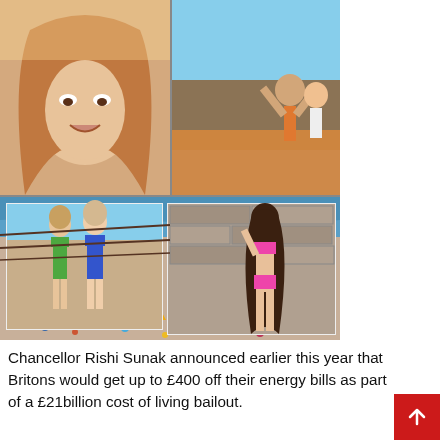[Figure (photo): A collage of photos: top-left shows a woman with long hair speaking or singing facing camera in bright light; top-right shows people at an outdoor gathering, a person with arms raised; bottom section shows a crowded beach scene (Bournemouth or similar UK beach) packed with people on a hot summer day, with two inset images: left inset shows two women in bikinis walking on a beach, right inset shows a woman in a pink bikini posing against a stone wall.]
Chancellor Rishi Sunak announced earlier this year that Britons would get up to £400 off their energy bills as part of a £21billion cost of living bailout.